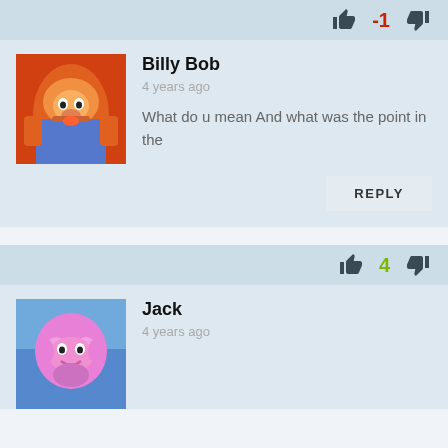[Figure (screenshot): Vote bar with thumbs up icon, vote count -1 in red, thumbs down icon for Billy Bob's comment]
[Figure (photo): Billy Bob avatar - Fortnite burger character with orange/red background]
Billy Bob
4 years ago
What do u mean And what was the point in the
REPLY
[Figure (screenshot): Vote bar with thumbs up icon, vote count 4 in green, thumbs down icon for Jack's comment]
[Figure (photo): Jack avatar - Fortnite pink bear character with blue background]
Jack
4 years ago